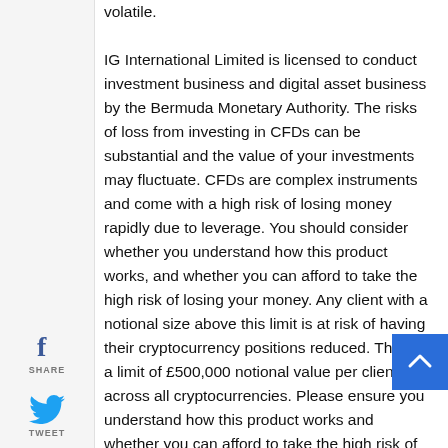[Figure (other): Social media sharing sidebar with Facebook (SHARE), Twitter (TWEET), Google+ (GPLUS), and LinkedIn (SHARE) icons and labels]
volatile. IG International Limited is licensed to conduct investment business and digital asset business by the Bermuda Monetary Authority. The risks of loss from investing in CFDs can be substantial and the value of your investments may fluctuate. CFDs are complex instruments and come with a high risk of losing money rapidly due to leverage. You should consider whether you understand how this product works, and whether you can afford to take the high risk of losing your money. Any client with a notional size above this limit is at risk of having their cryptocurrency positions reduced. There is a limit of £500,000 notional value per client across all cryptocurrencies. Please ensure you understand how this product works and whether you can afford to take the high risk of losing money. Przemysław Kral is set to discuss cryptocurrencies starting from April 7. Instant Buy Buy crypto with your credit or debit card in a few clicks. Any copying, republication or redistribution of Reuters content, including by caching, framing or similar means, is expressly prohibited without the prior written consent of Reuters.